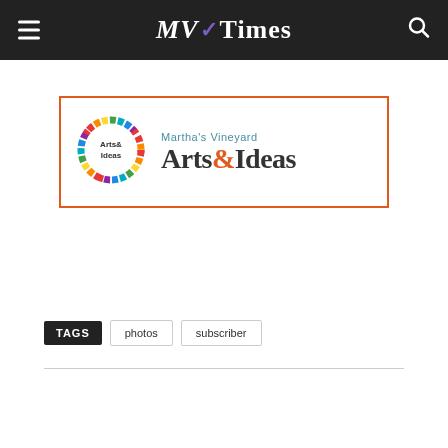MV Times
[Figure (logo): Martha's Vineyard Arts & Ideas advertisement banner with colorful circle logo and text 'Martha's Vineyard Arts & Ideas']
TAGS  photos  subscriber
[Figure (infographic): Social sharing buttons: Facebook, Twitter, Pinterest, WhatsApp, LinkedIn, Email, Print, and MV Times circular logo]